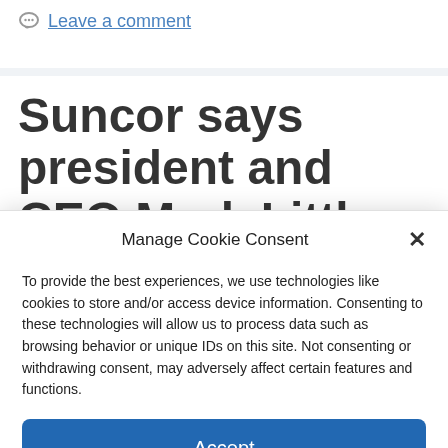Leave a comment
Suncor says president and CEO Mark Little
Manage Cookie Consent
To provide the best experiences, we use technologies like cookies to store and/or access device information. Consenting to these technologies will allow us to process data such as browsing behavior or unique IDs on this site. Not consenting or withdrawing consent, may adversely affect certain features and functions.
Accept
Cookie Policy